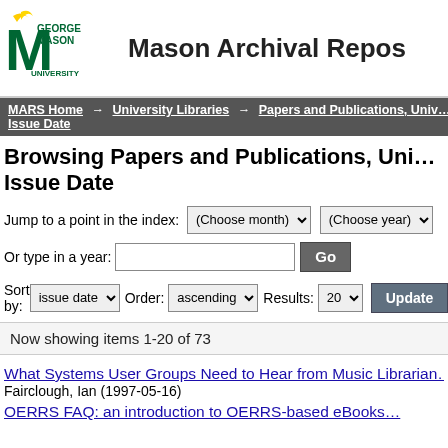Mason Archival Repos
MARS Home → University Libraries → Papers and Publications, Univ… Issue Date
Browsing Papers and Publications, Uni… Issue Date
Jump to a point in the index: (Choose month) (Choose year)
Or type in a year: [input] Go
Sort by: issue date  Order: ascending  Results: 20  Update
Now showing items 1-20 of 73
What Systems User Groups Need to Hear from Music Librarian…
Fairclough, Ian (1997-05-16)
OERRS FAQ: an introduction to OERRS-based eBooks…